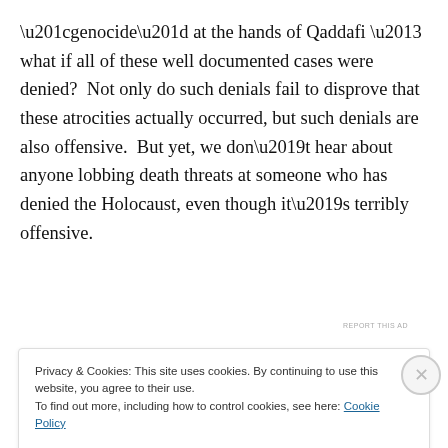“genocide” at the hands of Qaddafi – what if all of these well documented cases were denied?  Not only do such denials fail to disprove that these atrocities actually occurred, but such denials are also offensive.  But yet, we don’t hear about anyone lobbing death threats at someone who has denied the Holocaust, even though it’s terribly offensive.
[Figure (other): Advertisement banner with dark navy background showing 'Opinions. We all have them!' text with WordPress and Fresh News logos]
REPORT THIS AD
Privacy & Cookies: This site uses cookies. By continuing to use this website, you agree to their use.
To find out more, including how to control cookies, see here: Cookie Policy